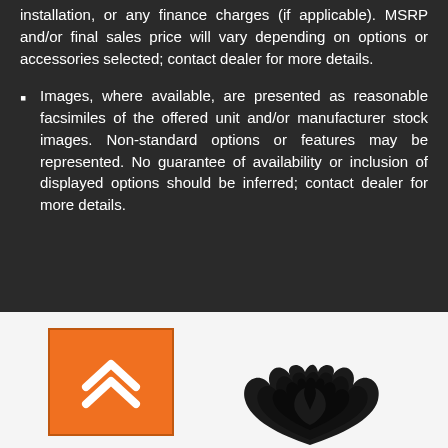installation, or any finance charges (if applicable). MSRP and/or final sales price will vary depending on options or accessories selected; contact dealer for more details.
Images, where available, are presented as reasonable facsimiles of the offered unit and/or manufacturer stock images. Non-standard options or features may be represented. No guarantee of availability or inclusion of displayed options should be inferred; contact dealer for more details.
[Figure (logo): Orange square button with white double chevron/up arrow icon]
[Figure (logo): Black flame/fire graphic logo at bottom of page]